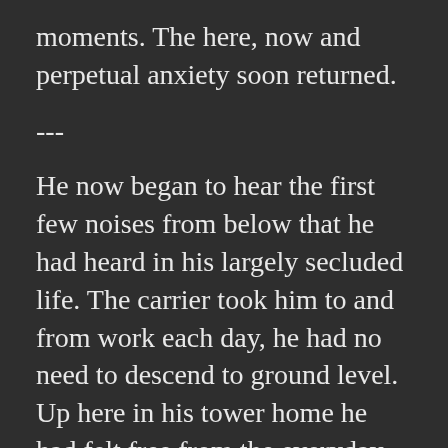moments. The here, now and perpetual anxiety soon returned.
---
He now began to hear the first few noises from below that he had heard in his largely secluded life. The carrier took him to and from work each day, he had no need to descend to ground level. Up here in his tower home he had felt free from the everyday... but now it seemed determined to encroach upon his sanctuary in the skies.
The noises were few at first but no less disturbing for that. What sounded vaguely like a scream was the first to find his ear. Coming